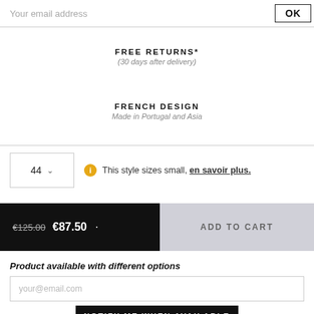Your email address
OK
FREE RETURNS*
(30 days after delivery)
FRENCH DESIGN
Made in Portugal and Asia
44
This style sizes small, en savoir plus.
€125.00 €87.50 · ADD TO CART
Product available with different options
your@email.com
NOTIFY ME WHEN AVAILABLE